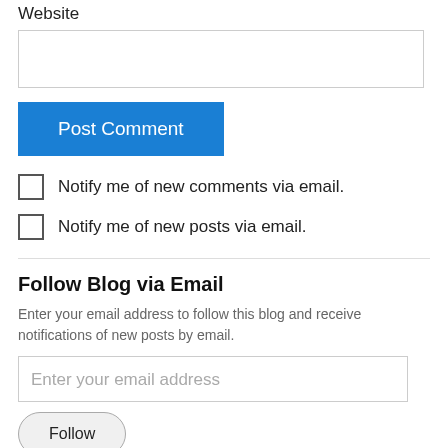Website
[Figure (other): Empty text input box for website URL]
[Figure (other): Blue 'Post Comment' button]
Notify me of new comments via email.
Notify me of new posts via email.
Follow Blog via Email
Enter your email address to follow this blog and receive notifications of new posts by email.
[Figure (other): Email input field with placeholder 'Enter your email address']
[Figure (other): Gray rounded 'Follow' button]